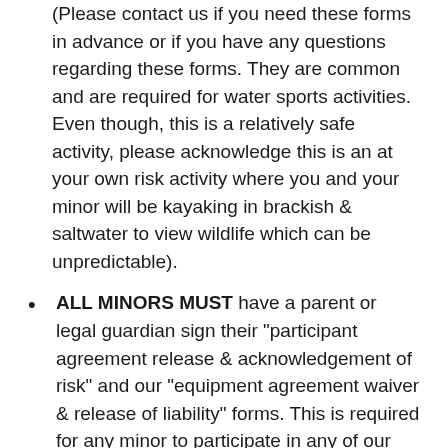(Please contact us if you need these forms in advance or if you have any questions regarding these forms. They are common and are required for water sports activities. Even though, this is a relatively safe activity, please acknowledge this is an at your own risk activity where you and your minor will be kayaking in brackish & saltwater to view wildlife which can be unpredictable).
ALL MINORS MUST have a parent or legal guardian sign their "participant agreement release & acknowledgement of risk" and our "equipment agreement waiver & release of liability" forms. This is required for any minor to participate in any of our activities. (Please contact us if you need these forms in advance for a parent to sign).
All minors must be accompanied by an adult.
Adults must present a drivers license, passport